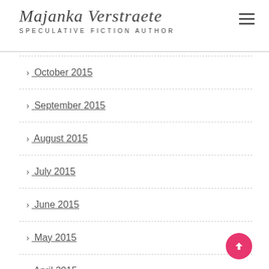Majanka Verstraete
SPECULATIVE FICTION AUTHOR
> October 2015
> September 2015
> August 2015
> July 2015
> June 2015
> May 2015
> April 2015